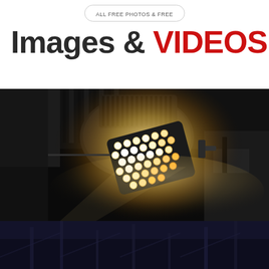ALL FREE PHOTOS & FREE
Images & VIDEOS
[Figure (photo): LED stage light fixture glowing with warm white light against a dark background, mounted on a ceiling rig. The light panel shows a honeycomb array of bright LED bulbs emitting warm golden-white light.]
[Figure (photo): Bottom portion of a dark blue/dark scene, partially visible, appears to be stage or entertainment equipment.]